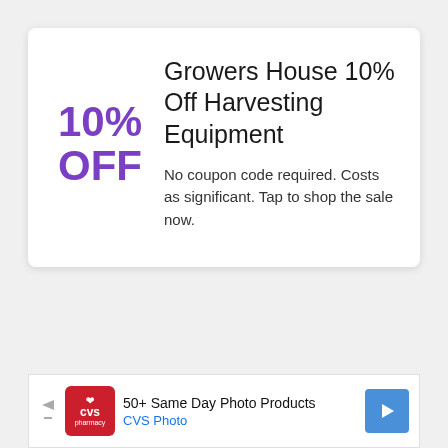10% OFF
Growers House 10% Off Harvesting Equipment
No coupon code required. Costs as significant. Tap to shop the sale now.
[Figure (infographic): CVS Pharmacy advertisement banner with logo, text '50+ Same Day Photo Products CVS Photo', navigation arrows on left and right]